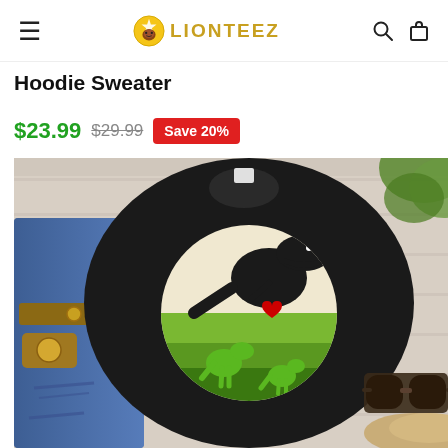LIONTEEZ
Hoodie Sweater
$23.99  $29.99  Save 20%
[Figure (photo): Black t-shirt with Mamasaurus Rex dinosaur graphic design, displayed flat on a white wooden surface alongside folded jeans and accessories]